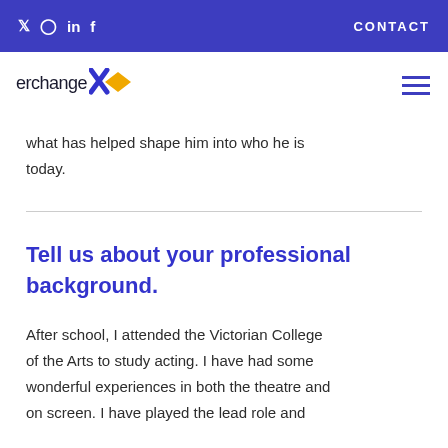Twitter Instagram LinkedIn Facebook | CONTACT
[Figure (logo): Interchange logo with blue X and gold diamond shape]
what has helped shape him into who he is today.
Tell us about your professional background.
After school, I attended the Victorian College of the Arts to study acting. I have had some wonderful experiences in both the theatre and on screen. I have played the lead role and